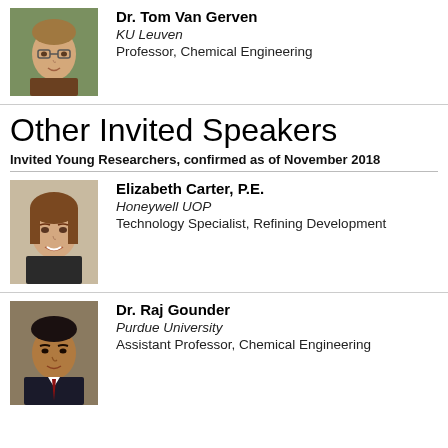[Figure (photo): Headshot photo of Dr. Tom Van Gerven, a young man with glasses]
Dr. Tom Van Gerven
KU Leuven
Professor, Chemical Engineering
Other Invited Speakers
Invited Young Researchers, confirmed as of November 2018
[Figure (photo): Headshot photo of Elizabeth Carter, P.E., a woman with brown hair smiling]
Elizabeth Carter, P.E.
Honeywell UOP
Technology Specialist, Refining Development
[Figure (photo): Headshot photo of Dr. Raj Gounder, a man in a suit]
Dr. Raj Gounder
Purdue University
Assistant Professor, Chemical Engineering